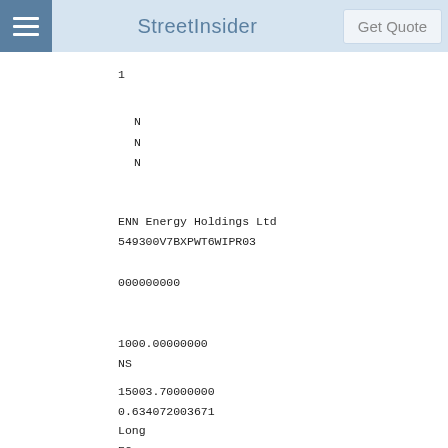StreetInsider  Get Quote
1
N
N
N
ENN Energy Holdings Ltd
549300V7BXPWT6WIPR03
000000000
1000.00000000
NS
15003.70000000
0.634072003671
Long
EC
CORP